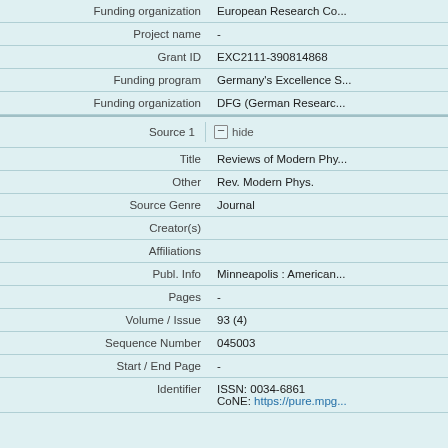| Field | Value |
| --- | --- |
| Funding organization | European Research Co... |
| Project name | - |
| Grant ID | EXC2111-390814868 |
| Funding program | Germany's Excellence S... |
| Funding organization | DFG (German Researc... |
Source 1  − hide
| Field | Value |
| --- | --- |
| Title | Reviews of Modern Phy... |
| Other | Rev. Modern Phys. |
| Source Genre | Journal |
| Creator(s) |  |
| Affiliations |  |
| Publ. Info | Minneapolis : American... |
| Pages | - |
| Volume / Issue | 93 (4) |
| Sequence Number | 045003 |
| Start / End Page | - |
| Identifier | ISSN: 0034-6861
CoNE: https://pure.mpg... |